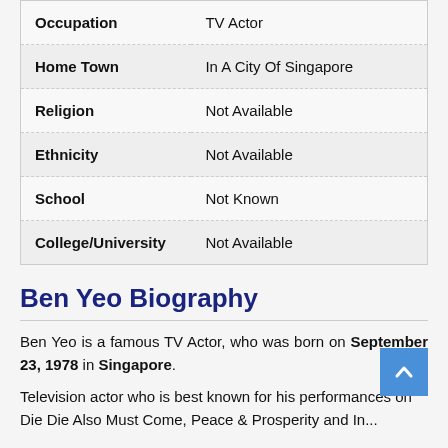| Field | Value |
| --- | --- |
| Occupation | TV Actor |
| Home Town | In A City Of Singapore |
| Religion | Not Available |
| Ethnicity | Not Available |
| School | Not Known |
| College/University | Not Available |
Ben Yeo Biography
Ben Yeo is a famous TV Actor, who was born on September 23, 1978 in Singapore.
Television actor who is best known for his performances on Die Die Also Must Come, Peace & Prosperity and In...